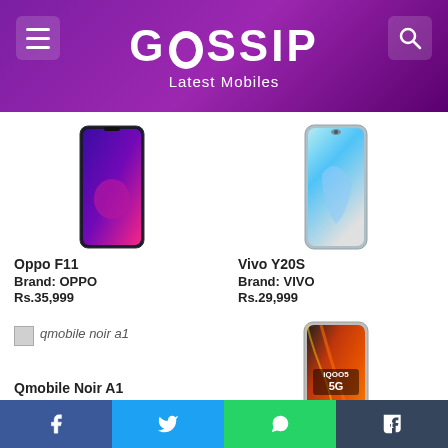GOSSIP - Latest Mobiles
[Figure (photo): Oppo F11 smartphone photo with purple/blue gradient display]
Oppo F11
Brand: OPPO
Rs.35,999
[Figure (photo): Vivo Y20S smartphone photo with blue gradient display]
Vivo Y20S
Brand: VIVO
Rs.29,999
[Figure (photo): Qmobile Noir A1 broken/missing image placeholder]
Qmobile Noir A1
Brand: QMOBILE
Rs.21,500
[Figure (photo): Vivo Iqoo 5 5G smartphone photo with orange/gold design]
Vivo Iqoo 5
Facebook | Twitter | WhatsApp | Tumblr